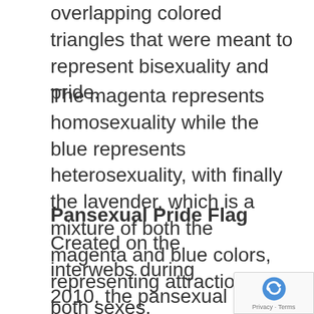overlapping colored triangles that were meant to represent bisexuality and pride.
The magenta represents homosexuality while the blue represents heterosexuality, with finally the lavender, which is a mixture of both the magenta and blue colors, representing attraction to both sexes.
Pansexual Pride Flag
Created on the interwebs during 2010, the pansexual pride flag was created to distinguish itself from bisexuality, which commonly mixed up.